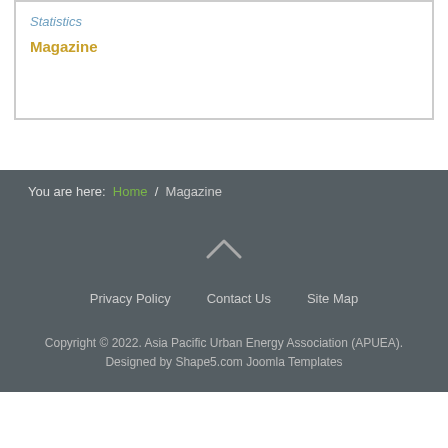Statistics
Magazine
You are here: Home / Magazine
[Figure (other): Up arrow chevron icon for back to top]
Privacy Policy   Contact Us   Site Map
Copyright © 2022. Asia Pacific Urban Energy Association (APUEA). Designed by Shape5.com Joomla Templates